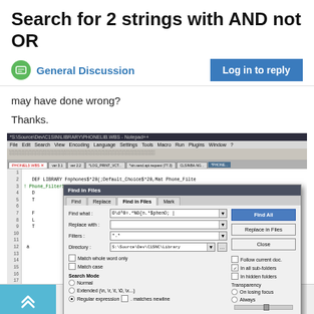Search for 2 strings with AND not OR
General Discussion
may have done wrong?
Thanks.
[Figure (screenshot): Notepad++ editor showing code with a 'Find in Files' dialog open. The dialog has Find what, Replace with, Filters fields, a Directory field, checkboxes for Match whole word only, Match case, In hidden folders, Transparency options, and Search Mode options including Normal, Extended, and Regular expression (selected). Buttons include Find All, Replace in Files, Close.]
4 out of 9